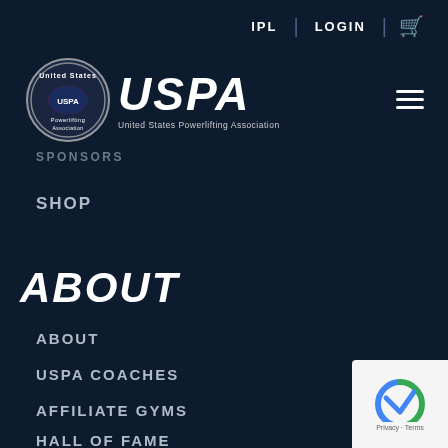IPL | LOGIN
[Figure (logo): USPA United States Powerlifting Association circular logo with US map graphic]
USPA United States Powerlifting Association
SPONSORS
SHOP
ABOUT
ABOUT
USPA COACHES
AFFILIATE GYMS
HALL OF FAME